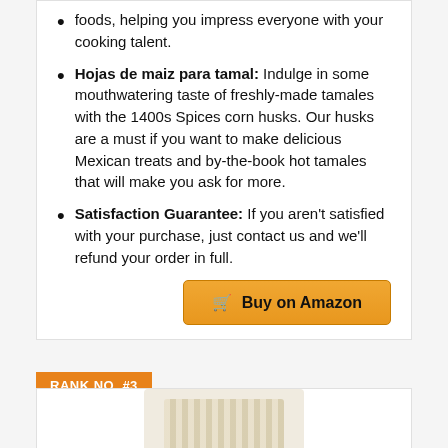foods, helping you impress everyone with your cooking talent.
Hojas de maiz para tamal: Indulge in some mouthwatering taste of freshly-made tamales with the 1400s Spices corn husks. Our husks are a must if you want to make delicious Mexican treats and by-the-book hot tamales that will make you ask for more.
Satisfaction Guarantee: If you aren't satisfied with your purchase, just contact us and we'll refund your order in full.
Buy on Amazon
RANK NO. #3
[Figure (photo): Product image of corn husks package shown at bottom of page]